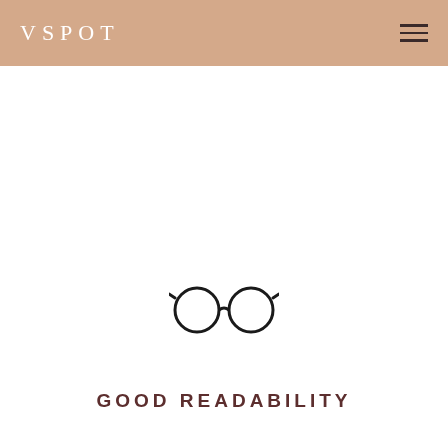VSPOT
[Figure (illustration): Simple line illustration of round eyeglasses (two circular lenses connected by a bridge with side arms), drawn in black outline on white background]
GOOD READABILITY